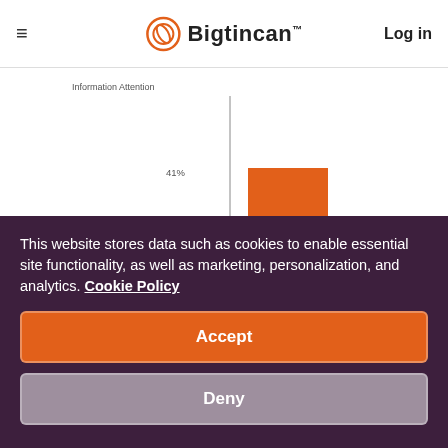≡  Bigtincan  Log in
[Figure (bar-chart): Information Attention]
This website stores data such as cookies to enable essential site functionality, as well as marketing, personalization, and analytics. Cookie Policy
Accept
Deny